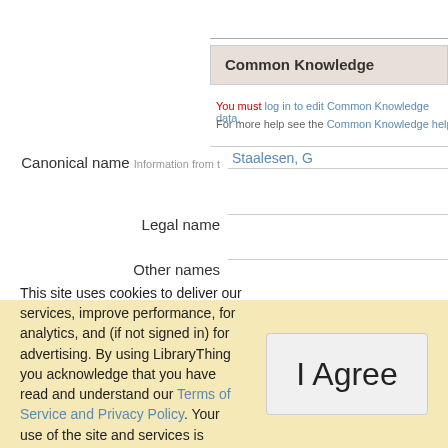Common Knowledge
You must log in to edit Common Knowledge data.
For more help see the Common Knowledge help
Canonical name  Information from t  Staalesen, G
Legal name
Other names
Date of birth  1947-10-19
This site uses cookies to deliver our services, improve performance, for analytics, and (if not signed in) for advertising. By using LibraryThing you acknowledge that you have read and understand our Terms of Service and Privacy Policy. Your use of the site and services is subject to these policies and terms.
I Agree